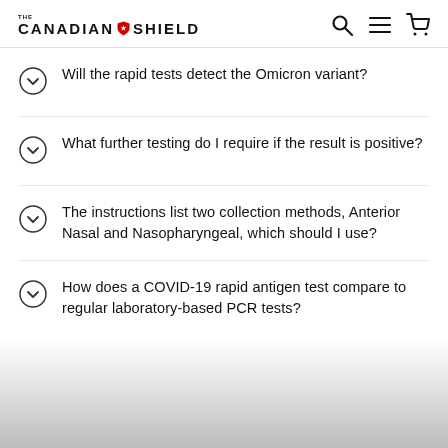THE CANADIAN SHIELD
Will the rapid tests detect the Omicron variant?
What further testing do I require if the result is positive?
The instructions list two collection methods, Anterior Nasal and Nasopharyngeal, which should I use?
How does a COVID-19 rapid antigen test compare to regular laboratory-based PCR tests?